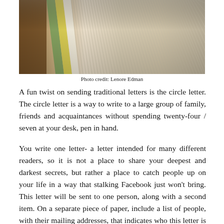[Figure (photo): Close-up photograph of books or letters stacked and fanned out, showing spines and pages, warm tones, shot from above at an angle.]
Photo credit: Lenore Edman
A fun twist on sending traditional letters is the circle letter. The circle letter is a way to write to a large group of family, friends and acquaintances without spending twenty-four / seven at your desk, pen in hand.
You write one letter- a letter intended for many different readers, so it is not a place to share your deepest and darkest secrets, but rather a place to catch people up on your life in a way that stalking Facebook just won't bring. This letter will be sent to one person, along with a second item. On a separate piece of paper, include a list of people, with their mailing addresses, that indicates who this letter is to be sent to after your first recipient has read it. That first recipient will add their own letter to yours, perhaps answering